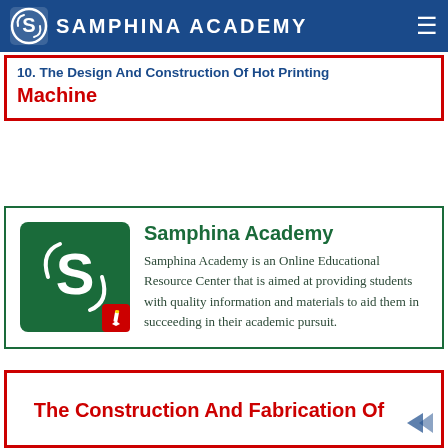SAMPHINA ACADEMY
10. The Design And Construction Of Hot Printing Machine
[Figure (logo): Samphina Academy logo — green square with white S letter and swirls, red pencil badge]
Samphina Academy
Samphina Academy is an Online Educational Resource Center that is aimed at providing students with quality information and materials to aid them in succeeding in their academic pursuit.
The Construction And Fabrication Of